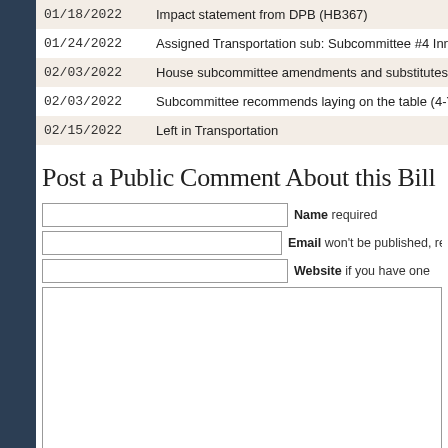| Date | Action |
| --- | --- |
| 01/18/2022 | Impact statement from DPB (HB367) |
| 01/24/2022 | Assigned Transportation sub: Subcommittee #4 Innovat... |
| 02/03/2022 | House subcommittee amendments and substitutes offer... |
| 02/03/2022 | Subcommittee recommends laying on the table (4-Y 2-N... |
| 02/15/2022 | Left in Transportation |
Post a Public Comment About this Bill
Name required
Email won't be published, re...
Website if you have one